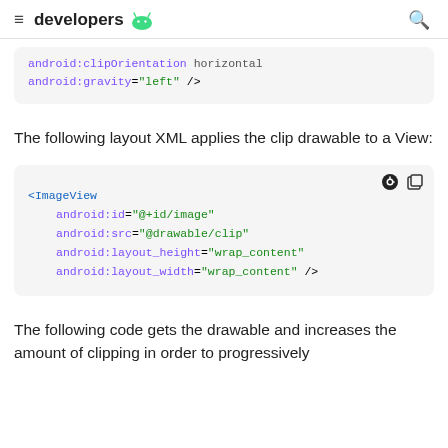≡ developers 🤖 🔍
[Figure (screenshot): Code block showing android:clipOrientation = horizontal and android:gravity = left attributes (partially visible, top cut off)]
The following layout XML applies the clip drawable to a View:
[Figure (screenshot): Code block showing ImageView XML with android:id, android:src, android:layout_height, android:layout_width attributes]
The following code gets the drawable and increases the amount of clipping in order to progressively